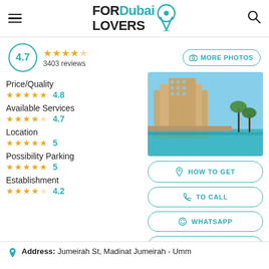FOR Dubai LOVERS
4.7 ★★★★★ 3403 reviews
MORE PHOTOS
[Figure (photo): Exterior photo of a hotel/resort with waterway and palm trees in Dubai]
Price/Quality ★★★★★ 4.8
Available Services ★★★★☆ 4.7
Location ★★★★★ 5
Possibility Parking ★★★★★ 5
Establishment ★★★★☆ 4.2
HOW TO GET
TO CALL
WHATSAPP
WEB PAGE
Address: Jumeirah St, Madinat Jumeirah - Umm